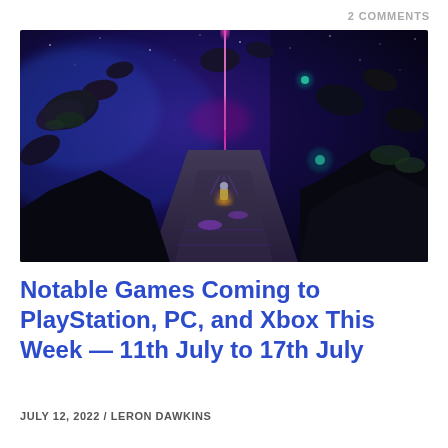2 COMMENTS
[Figure (photo): Screenshot from a video game showing a character walking along a glowing path through a dark, otherworldly landscape with floating rocks, neon lights in pink and blue hues, and a starry purple sky.]
Notable Games Coming to PlayStation, PC, and Xbox This Week — 11th July to 17th July
JULY 12, 2022 / LERON DAWKINS